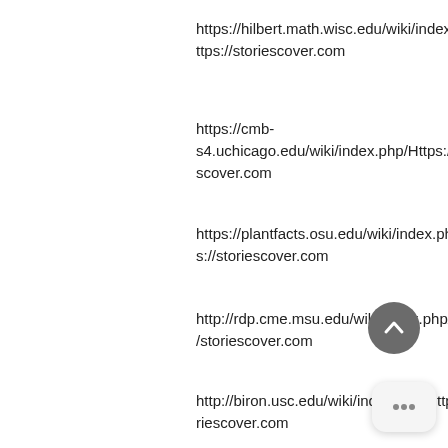https://hilbert.math.wisc.edu/wiki/index.php/Https://storiescover.com
https://cmb-s4.uchicago.edu/wiki/index.php/Https://storiescover.com
https://plantfacts.osu.edu/wiki/index.php/Https://storiescover.com
http://rdp.cme.msu.edu/wiki/index.php/Https://storiescover.com
http://biron.usc.edu/wiki/index.php/Https://storiescover.com
http://biron.usc.edu/wiki/index.php/Https://storiescover.com
https://cs.indstate.edu/wiki/index.php/Https://storiescover.com